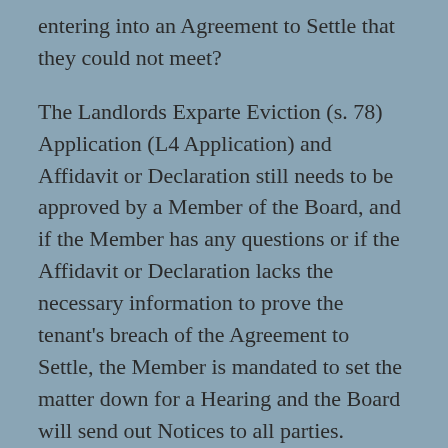entering into an Agreement to Settle that they could not meet?
The Landlords Exparte Eviction (s. 78) Application (L4 Application) and Affidavit or Declaration still needs to be approved by a Member of the Board, and if the Member has any questions or if the Affidavit or Declaration lacks the necessary information to prove the tenant's breach of the Agreement to Settle, the Member is mandated to set the matter down for a Hearing and the Board will send out Notices to all parties. However, if the paperwork and affidavit provide the information that the Member needs to issue the eviction order, the Board will mail out the Eviction Order to both the Landlord and the Tenant, at which time the